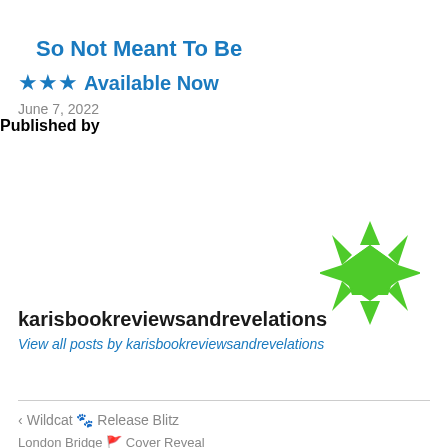So Not Meant To Be
★★★ Available Now
June 7, 2022
Published by
[Figure (logo): Green star/asterisk logo for WordPress or blog platform]
karisbookreviewsandrevelations
View all posts by karisbookreviewsandrevelations
< Wildcat 🐾 Release Blitz
London Bridge 🚩 Cover Reveal